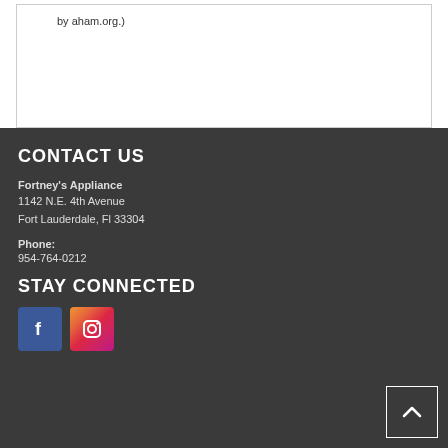by aham.org.)
CONTACT US
Fortney's Appliance
1142 N.E. 4th Avenue
Fort Lauderdale, Fl 33304
Phone:
954-764-0212
STAY CONNECTED